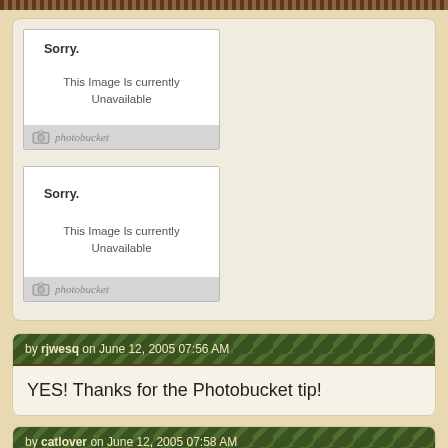[Figure (screenshot): Photobucket unavailable image placeholder 1 - shows 'Sorry. This Image Is currently Unavailable' with photobucket logo footer]
[Figure (screenshot): Photobucket unavailable image placeholder 2 - shows 'Sorry. This Image Is currently Unavailable' with photobucket logo footer]
by rjwesq on June 12, 2005 07:56 AM
YES! Thanks for the Photobucket tip!
by catlover on June 12, 2005 07:58 AM
Hmmmm....not for sure here.... guessing....is that mealy